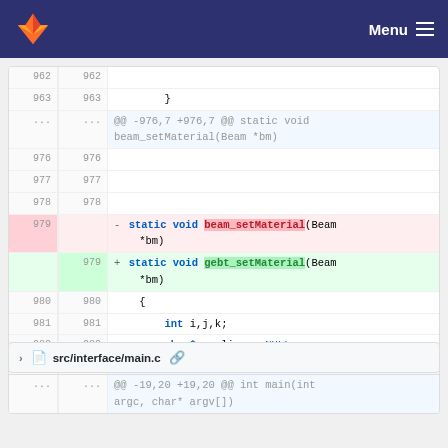GitLab navigation bar with Menu
Code diff showing lines 962-982 with beam_setMaterial renamed to gebt_setMaterial
File header: src/interface/main.c
Hunk: @@ -19,20 +19,20 @@ int main(int argc, char* argv[])